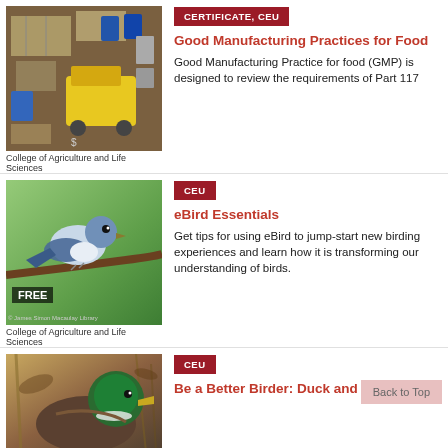[Figure (photo): Aerial view of a food manufacturing/laboratory facility with equipment and yellow machinery]
College of Agriculture and Life Sciences
CERTIFICATE, CEU
Good Manufacturing Practices for Food
Good Manufacturing Practice for food (GMP) is designed to review the requirements of Part 117
[Figure (photo): Close-up photo of a blue-gray bird perched on a branch with green background, FREE badge overlay]
College of Agriculture and Life Sciences
CEU
eBird Essentials
Get tips for using eBird to jump-start new birding experiences and learn how it is transforming our understanding of birds.
[Figure (photo): Close-up photo of a duck with green and brown plumage]
CEU
Be a Better Birder: Duck and Waterfowl